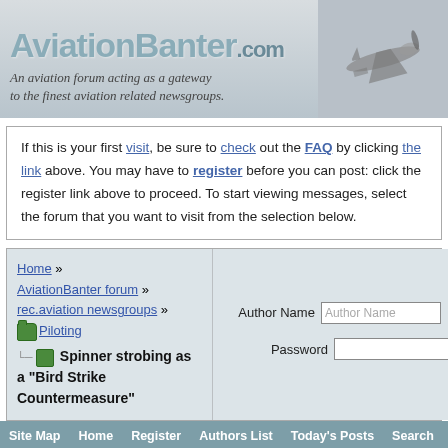[Figure (logo): AviationBanter.com banner with airplane silhouette and italic tagline]
If this is your first visit, be sure to check out the FAQ by clicking the link above. You may have to register before you can post: click the register link above to proceed. To start viewing messages, select the forum that you want to visit from the selection below.
Home » AviationBanter forum » rec.aviation newsgroups » Piloting — Spinner strobing as a "Bird Strike Countermeasure"
Author Name | Password | Remember Me? | Log in
Site Map  Home  Register  Authors List  Today's Posts  Search  Web Partners